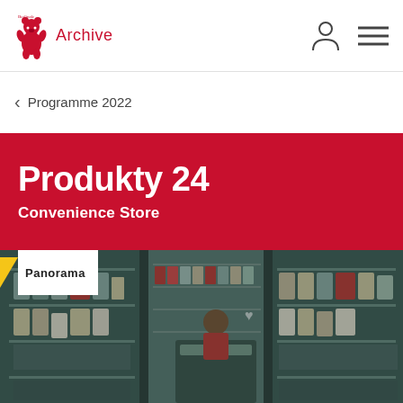Archive
Programme 2022
Produkty 24
Convenience Store
[Figure (photo): Interior of a convenience store with refrigerated shelves stocked with products, a cashier visible in the center background, shelves with various goods on left and right, overlaid with a teal/dark tint]
Panorama